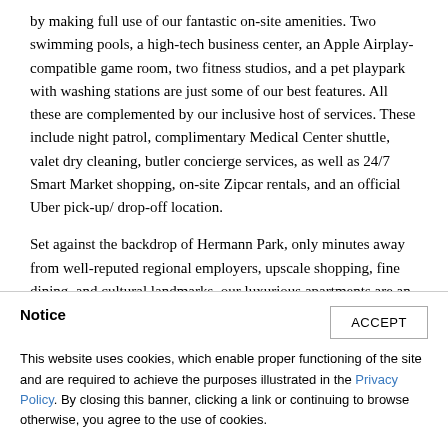by making full use of our fantastic on-site amenities. Two swimming pools, a high-tech business center, an Apple Airplay-compatible game room, two fitness studios, and a pet playpark with washing stations are just some of our best features. All these are complemented by our inclusive host of services. These include night patrol, complimentary Medical Center shuttle, valet dry cleaning, butler concierge services, as well as 24/7 Smart Market shopping, on-site Zipcar rentals, and an official Uber pick-up/ drop-off location.
Set against the backdrop of Hermann Park, only minutes away from well-reputed regional employers, upscale shopping, fine dining, and cultural landmarks, our luxurious apartments are an upscale retreat hidden in plain sight. Wel-
Notice
ACCEPT
This website uses cookies, which enable proper functioning of the site and are required to achieve the purposes illustrated in the Privacy Policy. By closing this banner, clicking a link or continuing to browse otherwise, you agree to the use of cookies.